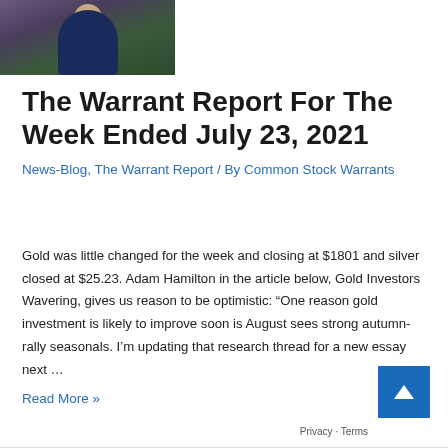[Figure (photo): Photo of a person wearing dark clothing outdoors with green foliage in background]
The Warrant Report For The Week Ended July 23, 2021
News-Blog, The Warrant Report / By Common Stock Warrants
Gold was little changed for the week and closing at $1801 and silver closed at $25.23. Adam Hamilton in the article below, Gold Investors Wavering, gives us reason to be optimistic: “One reason gold investment is likely to improve soon is August sees strong autumn-rally seasonals. I’m updating that research thread for a new essay next …
Read More »